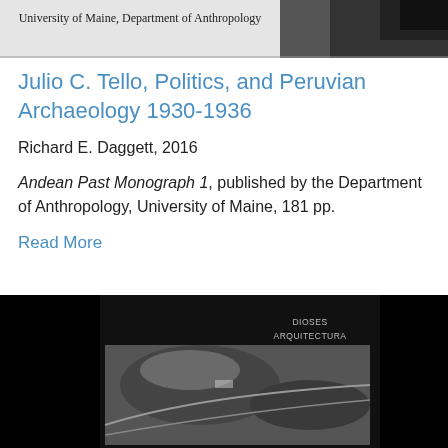[Figure (photo): Black and white header image showing 'University of Maine, Department of Anthropology' text with a dark landscape/tree background]
Julio C. Tello, Politics, and Peruvian Archaeology 1930-1936
Richard E. Daggett, 2016
Andean Past Monograph 1, published by the Department of Anthropology, University of Maine, 181 pp.
Read More
[Figure (photo): Book cover with black background showing text: DIOSES ARQUITECTURA SACRIFICIOS OFRENDAS, and a black and white aerial photograph of an archaeological site with mountains and roads]